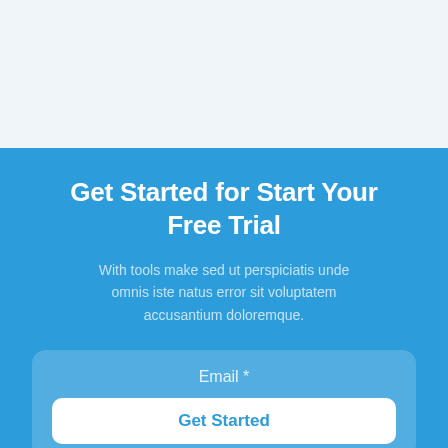Get Started for Start Your Free Trial
With tools make sed ut perspiciatis unde omnis iste natus error sit voluptatem accusantium doloremque.
Email *
Get Started